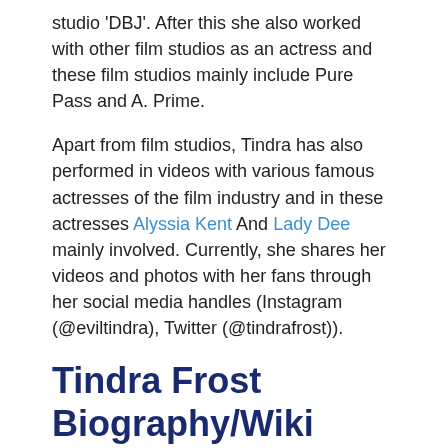studio 'DBJ'. After this she also worked with other film studios as an actress and these film studios mainly include Pure Pass and A. Prime.
Apart from film studios, Tindra has also performed in videos with various famous actresses of the film industry and in these actresses Alyssia Kent And Lady Dee mainly involved. Currently, she shares her videos and photos with her fans through her social media handles (Instagram (@eviltindra), Twitter (@tindrafrost)).
Tindra Frost Biography/Wiki
Profile